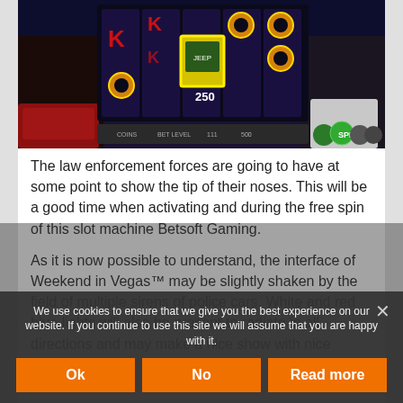[Figure (screenshot): Screenshot of a slot machine game 'Weekend in Vegas' by Betsoft Gaming, showing reels with K, O symbols, a jeep wild symbol showing 250, characters on the sides, and game UI buttons at bottom.]
The law enforcement forces are going to have at some point to show the tip of their noses. This will be a good time when activating and during the free spin of this slot machine Betsoft Gaming.
As it is now possible to understand, the interface of Weekend in Vegas™ may be slightly shaken by the field of multiple sirens of police cars. White and red blue lights will also be present to radiate in all directions and may make a nice show with nice games of light.
We use cookies to ensure that we give you the best experience on our website. If you continue to use this site we will assume that you are happy with it.